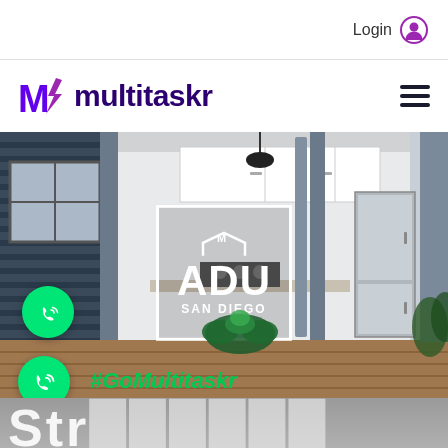Login
[Figure (logo): Multitaskr logo with stylized M and lightning bolt icon, purple color]
[Figure (photo): Modern kitchen/ADU interior photo with sliding glass doors opening to outdoor deck. ADU San Diego logo overlaid in white box in center.]
#GoMultitaskr
[Figure (other): Partially visible large white text at bottom, cut off]